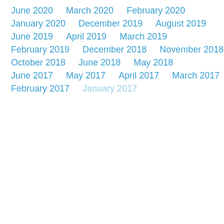June 2020
March 2020
February 2020
January 2020
December 2019
August 2019
June 2019
April 2019
March 2019
February 2019
December 2018
November 2018
October 2018
June 2018
May 2018
June 2017
May 2017
April 2017
March 2017
February 2017
January 2017